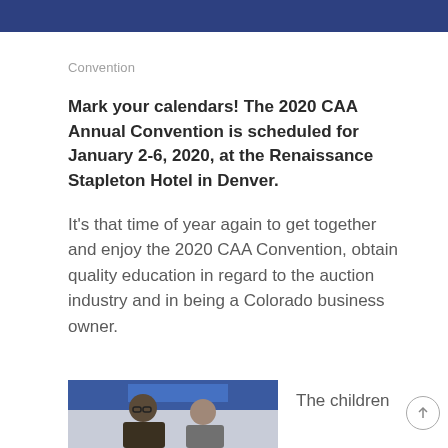Convention
Mark your calendars!  The 2020 CAA Annual Convention is scheduled for January 2-6, 2020, at the Renaissance Stapleton Hotel in Denver.
It’s that time of year again to get together and enjoy the 2020 CAA Convention, obtain quality education in regard to the auction industry and in being a Colorado business owner.
[Figure (photo): Two people at a convention event, with a blue banner visible in the background]
The children